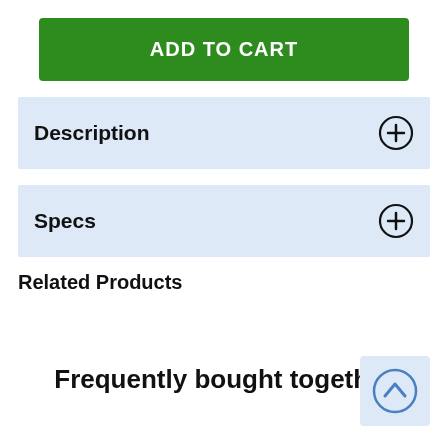ADD TO CART
Description
Specs
Related Products
Frequently bought together